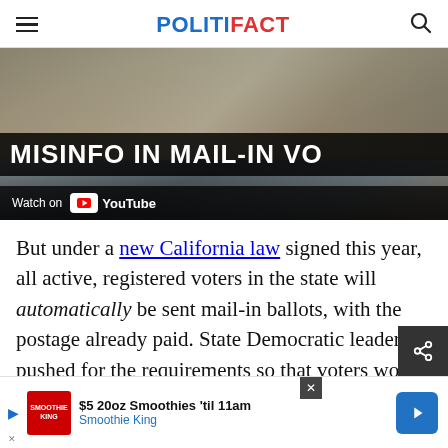POLITIFACT
[Figure (screenshot): Video thumbnail showing hands placing ballot in mail slot, with text overlay 'MISINFO IN MAIL-IN VO' and YouTube 'Watch on' button at bottom]
But under a new California law signed this year, all active, registered voters in the state will automatically be sent mail-in ballots, with the postage already paid. State Democratic leaders pushed for the requirements so that voters would not have to cast their ballot in perso...
[Figure (screenshot): Advertisement banner: Smoothie King '$5 20oz Smoothies til 11am' with logo and blue arrow button. X close button visible at top right of ad area.]